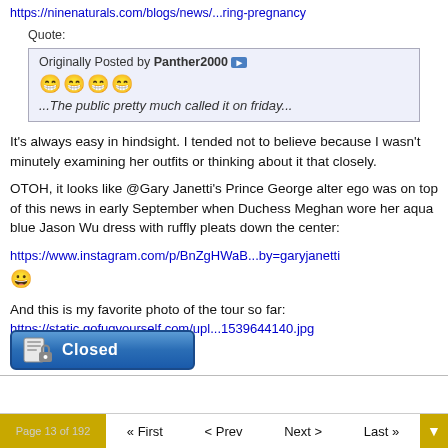https://ninenaturals.com/blogs/news/...ring-pregnancy
Quote:
Originally Posted by Panther2000 [arrow] 😁😁😁😁 ...The public pretty much called it on friday...
It's always easy in hindsight. I tended not to believe because I wasn't minutely examining her outfits or thinking about it that closely.
OTOH, it looks like @Gary Janetti's Prince George alter ego was on top of this news in early September when Duchess Meghan wore her aqua blue Jason Wu dress with ruffly pleats down the center:
https://www.instagram.com/p/BnZgHWaB...by=garyjanetti 😀
And this is my favorite photo of the tour so far:
https://static.gofugyourself.com/upl...1539644140.jpg
[Figure (other): Closed button with lock icon in blue gradient style]
Page 13 of 192  « First  < Prev  Next >  Last »